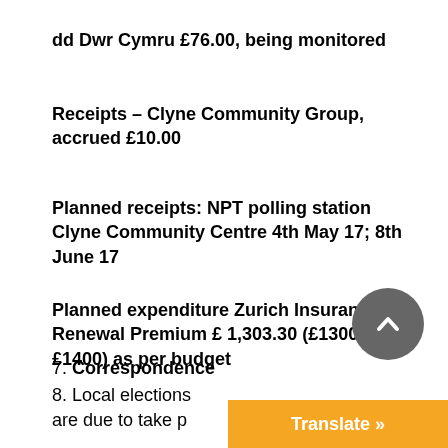dd Dwr Cymru £76.00, being monitored
Receipts – Clyne Community Group, accrued £10.00
Planned receipts: NPT polling station Clyne Community Centre 4th May 17; 8th June 17
Planned expenditure Zurich Insurance Renewal Premium £ 1,303.30 (£1300- £1400) as per budget
7. Correspondence
8. Local elections are due to take p